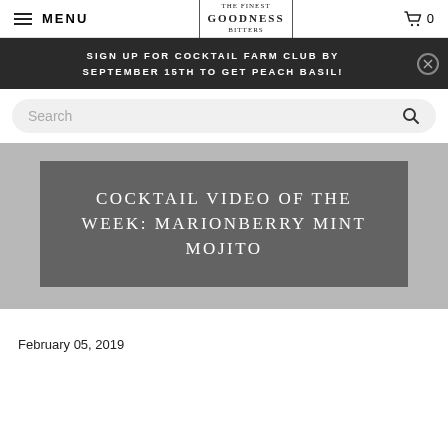MENU | Goodness Bitters logo | 🛒 0
SIGN UP FOR COCKTAIL FARM CLUB BY SEPTEMBER 15TH TO GET PEACH BASIL!
[Figure (screenshot): Search bar with rounded rectangle background and magnifying glass icon]
COCKTAIL VIDEO OF THE WEEK: MARIONBERRY MINT MOJITO
February 05, 2019